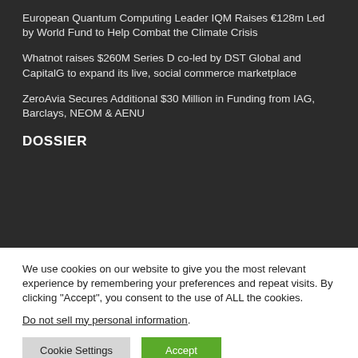European Quantum Computing Leader IQM Raises €128m Led by World Fund to Help Combat the Climate Crisis
Whatnot raises $260M Series D co-led by DST Global and CapitalG to expand its live, social commerce marketplace
ZeroAvia Secures Additional $30 Million in Funding from IAG, Barclays, NEOM & AENU
DOSSIER
We use cookies on our website to give you the most relevant experience by remembering your preferences and repeat visits. By clicking “Accept”, you consent to the use of ALL the cookies.
Do not sell my personal information.